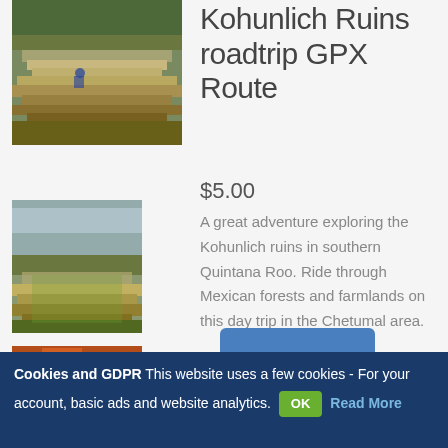[Figure (photo): Kohunlich ruins stone pyramid steps with trees in background, person visible on steps]
Kohunlich Ruins roadtrip GPX Route
$5.00
[Figure (photo): Kohunlich ruins stone walls with green grass courtyard and cloudy sky]
A great adventure exploring the Kohunlich ruins in southern Quintana Roo. Ride through Mexican forests and farmlands on this day trip in the Chetumal area.
[Figure (photo): Market or shop area with colorful signage, red circular sign visible]
Cookies and GDPR This website uses a few cookies - For your account, basic ads and website analytics. OK Read More